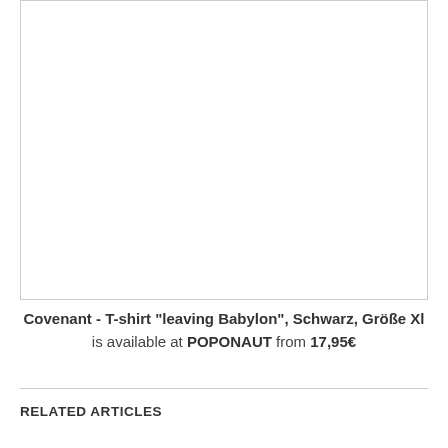[Figure (photo): Product photo area — blank white rectangle with border, representing a T-shirt product image placeholder]
Covenant - T-shirt "leaving Babylon", Schwarz, Größe Xl is available at POPONAUT from 17,95€
RELATED ARTICLES